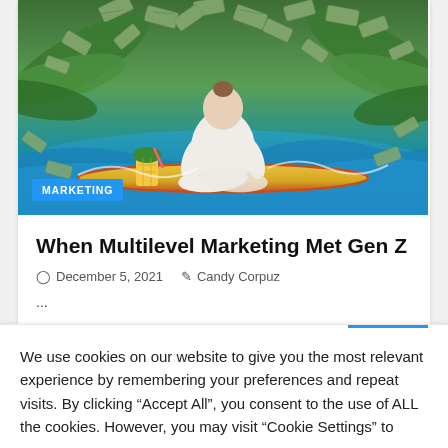[Figure (photo): Woman in white outfit sitting cross-legged in yoga/meditation pose on a surfboard, surrounded by flying dollar bills and tropical palm leaves, with ocean waves in background. A pineapple drink is visible on the left.]
MARKETING
When Multilevel Marketing Met Gen Z
December 5, 2021   Candy Corpuz
...
We use cookies on our website to give you the most relevant experience by remembering your preferences and repeat visits. By clicking "Accept All", you consent to the use of ALL the cookies. However, you may visit "Cookie Settings" to